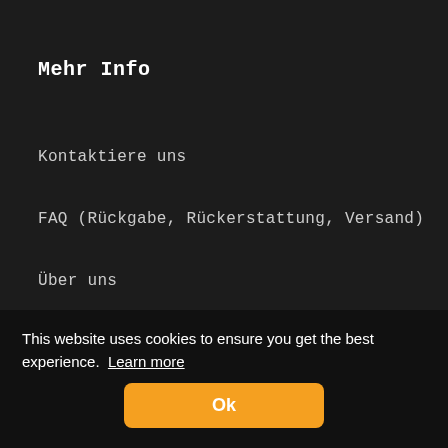Mehr Info
Kontaktiere uns
FAQ (Rückgabe, Rückerstattung, Versand)
Über uns
Datenschutz-Bestimmungen
Allge...
This website uses cookies to ensure you get the best experience.  Learn more
Ok